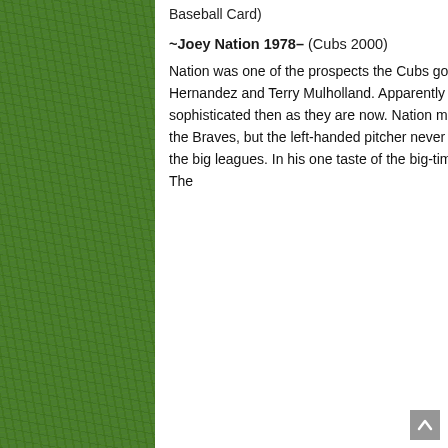Baseball Card)
~Joey Nation 1978– (Cubs 2000)
Nation was one of the prospects the Cubs got in return from the Atlanta Braves for Jose Hernandez and Terry Mulholland. Apparently the Cubs scouts weren't quite as sophisticated then as they are now. Nation may have been a second round draft choice of the Braves, but the left-handed pitcher never had a good season in the minors, let alone the big leagues. In his one taste of the big-time with the Cubs, he was lit up in two starts. The